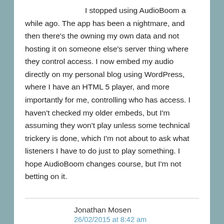I stopped using AudioBoom a while ago. The app has been a nightmare, and then there's the owning my own data and not hosting it on someone else's server thing where they control access. I now embed my audio directly on my personal blog using WordPress, where I have an HTML 5 player, and more importantly for me, controlling who has access. I haven't checked my older embeds, but I'm assuming they won't play unless some technical trickery is done, which I'm not about to ask what listeners I have to do just to play something. I hope AudioBoom changes course, but I'm not betting on it.
Jonathan Mosen
26/02/2015 at 8:42 am